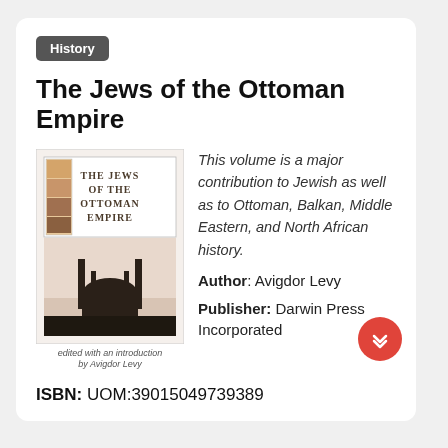History
The Jews of the Ottoman Empire
[Figure (illustration): Book cover of 'The Jews of the Ottoman Empire' — showing the title text at the top and a silhouette of a mosque/city skyline at the bottom, with caption: edited with an introduction by Avigdor Levy]
This volume is a major contribution to Jewish as well as to Ottoman, Balkan, Middle Eastern, and North African history.
Author: Avigdor Levy
Publisher: Darwin Press Incorporated
ISBN: UOM:39015049739389